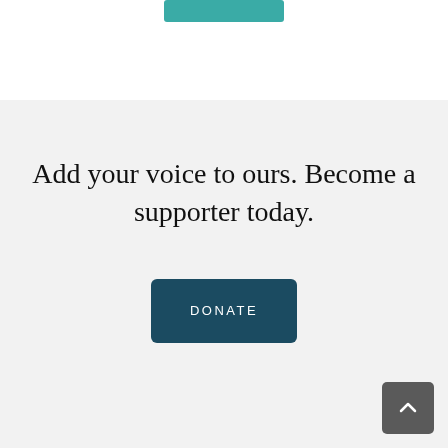[Figure (other): Teal/turquoise rectangular button at the top of the page, partially cut off]
Add your voice to ours. Become a supporter today.
[Figure (other): Dark teal DONATE button]
[Figure (other): Dark gray scroll-to-top button with upward chevron arrow, bottom-right corner]